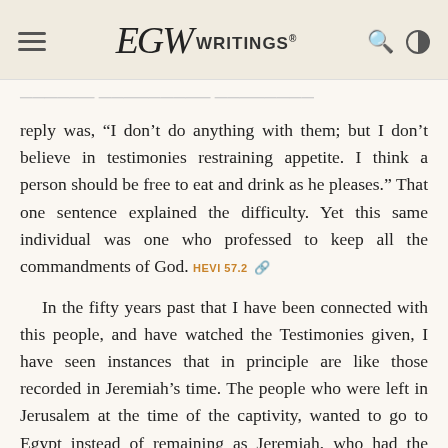EGW Writings®
reply was, “I don’t do anything with them; but I don’t believe in testimonies restraining appetite. I think a person should be free to eat and drink as he pleases.” That one sentence explained the difficulty. Yet this same individual was one who professed to keep all the commandments of God. HEVI 57.2
In the fifty years past that I have been connected with this people, and have watched the Testimonies given, I have seen instances that in principle are like those recorded in Jeremiah’s time. The people who were left in Jerusalem at the time of the captivity, wanted to go to Egypt instead of remaining as Jeremiah, who had the mind of the Lord, had advised them. HEVI 57.3